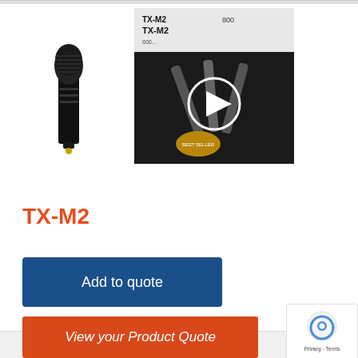[Figure (photo): Thumbnail image of TX-M2 handheld wireless microphone, black]
[Figure (screenshot): Video thumbnail showing TX-M2 product with play button overlay, labeled TX-M2 and 800...]
TX-M2
[Figure (other): Add to quote button - dark blue rectangular button]
[Figure (other): View your Product Quote button - orange rectangular button]
Quick Enquiry Form
Ask a question about this product and we'll contact y...
[Figure (other): reCAPTCHA badge with Privacy - Terms text]